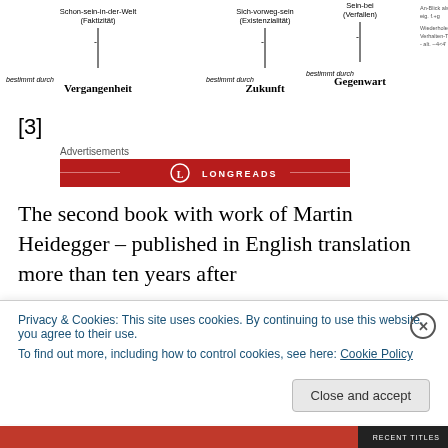[Figure (schematic): Philosophical diagram with German labels: Schon-sein-in-der-Welt (Faktizität), Sich-vorweg-sein (Existenzialität), Sein-bei (Verfallen), with timeline markers for Vergangenheit, Zukunft, Gegenwart and handwritten annotations on the right.]
[3]
Advertisements
[Figure (logo): Longreads advertisement banner — red background with Longreads logo (circle L) and name in white text]
The second book with work of Martin Heidegger – published in English translation more than ten years after
Privacy & Cookies: This site uses cookies. By continuing to use this website, you agree to their use.
To find out more, including how to control cookies, see here: Cookie Policy
Close and accept